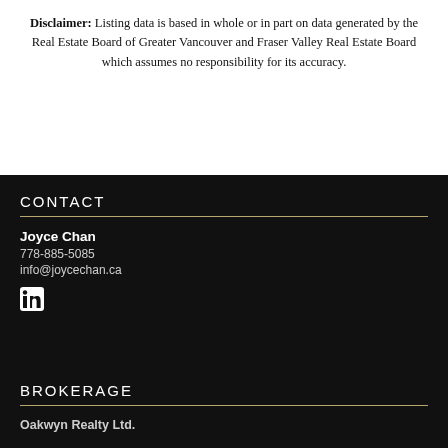Disclaimer: Listing data is based in whole or in part on data generated by the Real Estate Board of Greater Vancouver and Fraser Valley Real Estate Board which assumes no responsibility for its accuracy.
CONTACT
Joyce Chan
778-885-5085
info@joycechan.ca
[Figure (logo): LinkedIn icon (in logo)]
BROKERAGE
Oakwyn Realty Ltd.